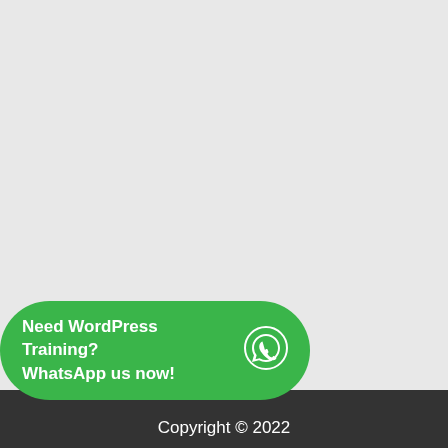[Figure (other): Light gray background area filling most of the page]
Need WordPress Training? WhatsApp us now!
Copyright © 2022